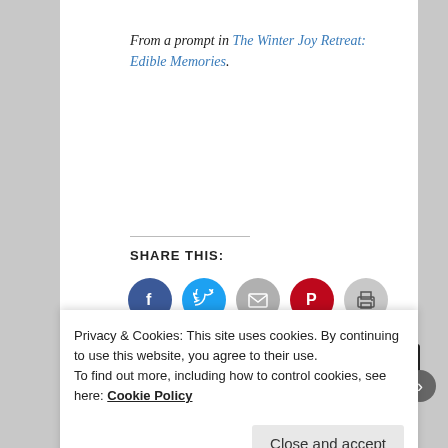From a prompt in The Winter Joy Retreat: Edible Memories.
SHARE THIS:
[Figure (infographic): Social share buttons: Facebook (blue circle), Twitter (cyan circle), Email (grey circle), Pinterest (red circle), Print (grey circle)]
[Figure (infographic): Like button and user avatar thumbnails row]
Privacy & Cookies: This site uses cookies. By continuing to use this website, you agree to their use.
To find out more, including how to control cookies, see here: Cookie Policy
Close and accept